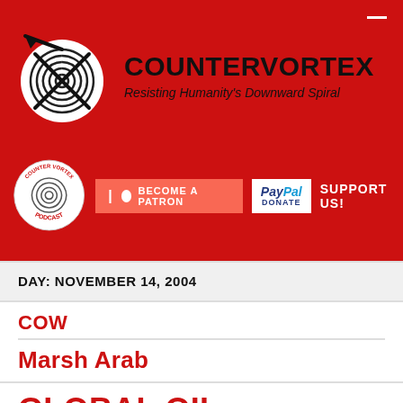[Figure (logo): CounterVortex website header with spiral logo, site name, tagline, podcast logo, Patreon button, PayPal donate button, and SUPPORT US text on red background]
DAY: NOVEMBER 14, 2004
COW
Marsh Arab
GLOBAL OIL SQUEEZE: DECONSTRUCTING THE PROPAGANDA